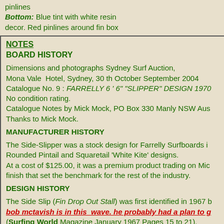pinlines
Bottom: Blue tint with white resin decor. Red pinlines around fin box
NOTES
BOARD HISTORY
Dimensions and photographs Sydney Surf Auction, Mona Vale Hotel, Sydney, 30 th October September 2004 Catalogue No. 9 : FARRELLY 6 ' 6" "SLIPPER" DESIGN 1970 No condition rating. Catalogue Notes by Mick Mock, PO Box 330 Manly NSW Aus Thanks to Mick Mock.
MANUFACTURER HISTORY
The Side-Slipper was a stock design for Farrelly Surfboards i Rounded Pintail and Squaretail 'White Kite' designs. At a cost of $125.00, it was a premium product trading on Mic finish that set the benchmark for the rest of the industry.
DESIGN HISTORY
The Side Slip (Fin Drop Out Stall) was first identified in 1967 b bob mctavish is in this wave. he probably had a plan to g (Surfing World Magazine January 1967 Pages 15 to 21).

A compendium of (long board) manouvres , it includes...